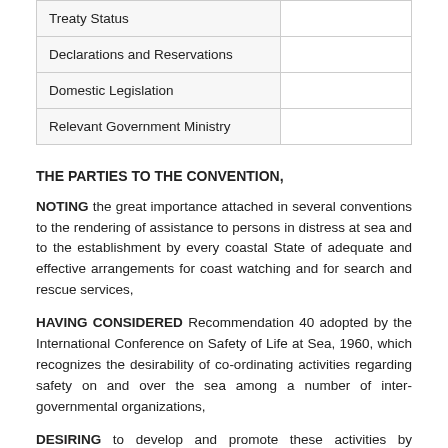| Treaty Status |  |
| Declarations and Reservations |  |
| Domestic Legislation |  |
| Relevant Government Ministry |  |
THE PARTIES TO THE CONVENTION,
NOTING the great importance attached in several conventions to the rendering of assistance to persons in distress at sea and to the establishment by every coastal State of adequate and effective arrangements for coast watching and for search and rescue services,
HAVING CONSIDERED Recommendation 40 adopted by the International Conference on Safety of Life at Sea, 1960, which recognizes the desirability of co-ordinating activities regarding safety on and over the sea among a number of inter-governmental organizations,
DESIRING to develop and promote these activities by establishing an international maritime search and rescue plan responsible to the needs of maritime traffic for the rescue of persons in distress at sea,